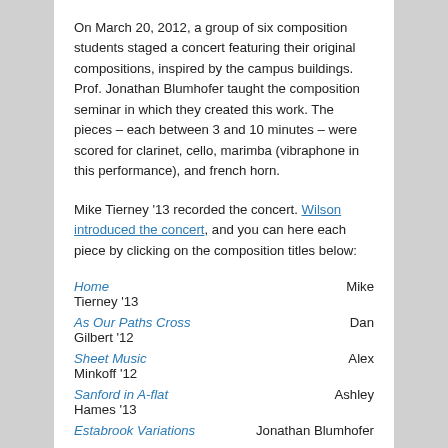On March 20, 2012, a group of six composition students staged a concert featuring their original compositions, inspired by the campus buildings. Prof. Jonathan Blumhofer taught the composition seminar in which they created this work. The pieces – each between 3 and 10 minutes – were scored for clarinet, cello, marimba (vibraphone in this performance), and french horn.
Mike Tierney '13 recorded the concert. Wilson introduced the concert, and you can here each piece by clicking on the composition titles below:
Home — Mike Tierney '13
As Our Paths Cross — Dan Gilbert '12
Sheet Music — Alex Minkoff '12
Sanford in A-flat — Ashley Hames '13
Estabrook Variations — Jonathan Blumhofer